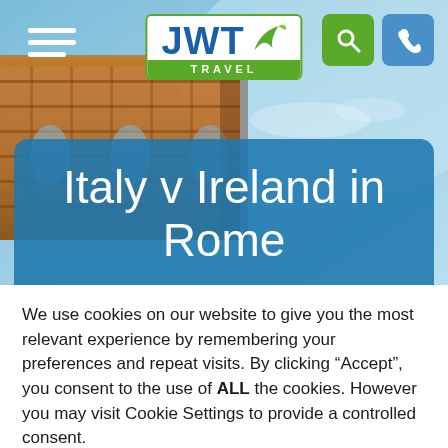[Figure (screenshot): JWT Travel website screenshot showing hero image of ancient Roman ruins against blue sky, with JWT Travel logo at top center, hamburger menu top left, search and phone icons top right, and a blue rounded title box overlay reading 'Italy v Ireland in Rome']
Italy v Ireland in Rome
We use cookies on our website to give you the most relevant experience by remembering your preferences and repeat visits. By clicking “Accept”, you consent to the use of ALL the cookies. However you may visit Cookie Settings to provide a controlled consent.